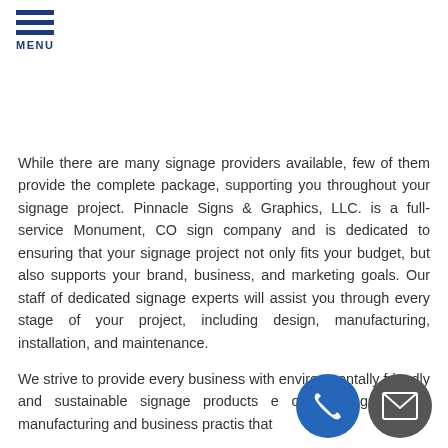MENU
While there are many signage providers available, few of them provide the complete package, supporting you throughout your signage project. Pinnacle Signs & Graphics, LLC. is a full-service Monument, CO sign company and is dedicated to ensuring that your signage project not only fits your budget, but also supports your brand, business, and marketing goals. Our staff of dedicated signage experts will assist you through every stage of your project, including design, manufacturing, installation, and maintenance.
We strive to provide every business with environmentally friendly and sustainable signage products, on utilizing efficient manufacturing and business practices that